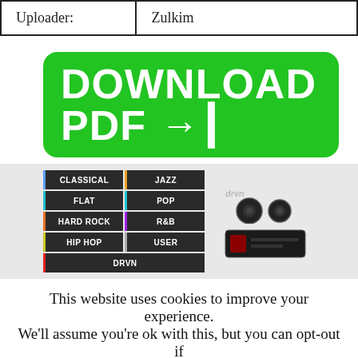| Uploader: | Zulkim |
[Figure (other): Green download button with text DOWNLOAD PDF and arrow icon]
[Figure (other): Audio equipment advertisement showing EQ preset selector grid with modes: CLASSICAL, JAZZ, FLAT, POP, HARD ROCK, R&B, HIP HOP, USER, DRVN; alongside car speakers and amplifier images]
This website uses cookies to improve your experience. We'll assume you're ok with this, but you can opt-out if you wish.
Cookie settings
ACCEPT